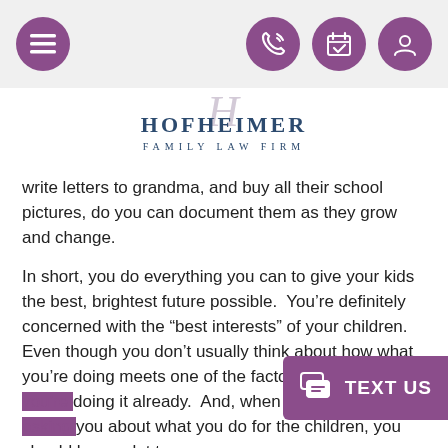Navigation bar with menu, phone, calendar, and account icons
[Figure (logo): Hofheimer Family Law Firm logo with stylized H]
write letters to grandma, and buy all their school pictures, do you can document them as they grow and change.
In short, you do everything you can to give your kids the best, brightest future possible.  You’re definitely concerned with the “best interests” of your children.  Even though you don’t usually think about how what you’re doing meets one of the factors on t[he list, you’re] doing it already.  And, when the GAL sta[rts asking] you about what you do for the children, you should have a lot to say.